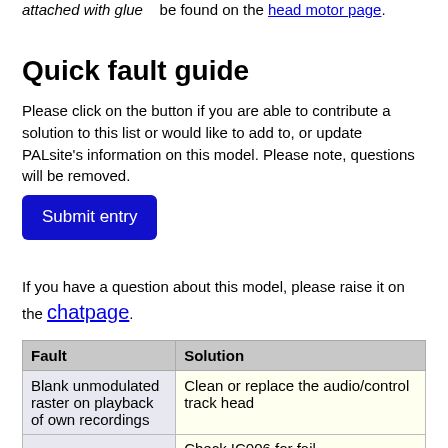attached with glue    be found on the head motor page.
Quick fault guide
Please click on the button if you are able to contribute a solution to this list or would like to add to, or update PALsite's information on this model. Please note, questions will be removed.
Submit entry
If you have a question about this model, please raise it on the chatpage.
| Fault | Solution |
| --- | --- |
| Blank unmodulated raster on playback of own recordings | Clean or replace the audio/control track head |
| (cut off) | Check IC006 for fail... |